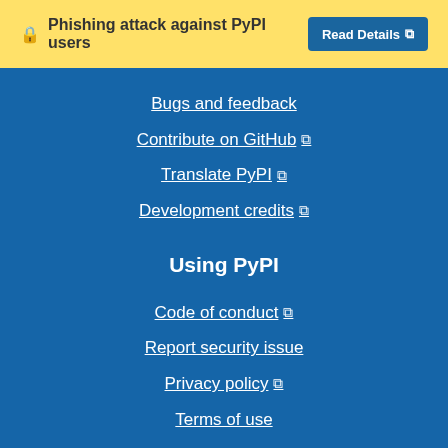🔒 Phishing attack against PyPI users   Read Details ↗
Bugs and feedback
Contribute on GitHub ↗
Translate PyPI ↗
Development credits ↗
Using PyPI
Code of conduct ↗
Report security issue
Privacy policy ↗
Terms of use